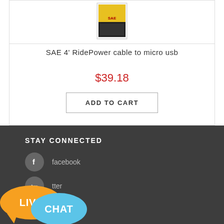[Figure (photo): Product image of SAE 4' RidePower cable to micro usb packaging]
SAE 4' RidePower cable to micro usb
$39.18
ADD TO CART
STAY CONNECTED
facebook
twitter
Youtube
[Figure (illustration): Live Chat button overlay with orange and blue speech bubbles reading LIVE and CHAT]